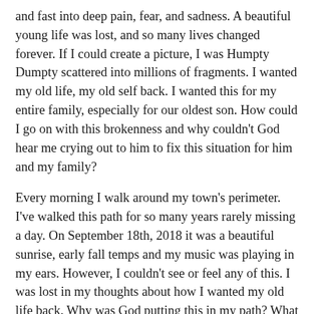and fast into deep pain, fear, and sadness. A beautiful young life was lost, and so many lives changed forever. If I could create a picture, I was Humpty Dumpty scattered into millions of fragments. I wanted my old life, my old self back. I wanted this for my entire family, especially for our oldest son. How could I go on with this brokenness and why couldn't God hear me crying out to him to fix this situation for him and my family?
Every morning I walk around my town's perimeter. I've walked this path for so many years rarely missing a day. On September 18th, 2018 it was a beautiful sunrise, early fall temps and my music was playing in my ears. However, I couldn't see or feel any of this. I was lost in my thoughts about how I wanted my old life back. Why was God putting this in my path? What had we done so wrong that my family must suffer so? As I walked along the far side of town, I happened to look over, and I saw something I hadn't seen before. A cross, tucked back behind the Cowboy Church, nestled into some evergreen trees. I was drawn over to the cross and as I came straight on to the cross, I